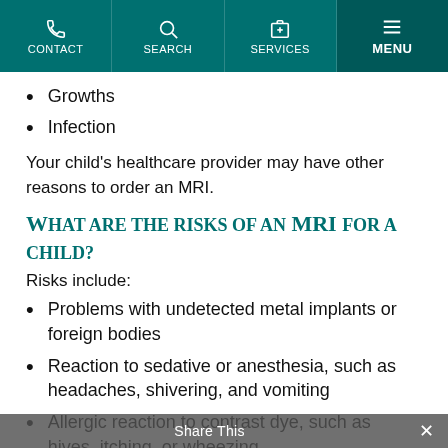CONTACT | SEARCH | SERVICES | MENU
Growths
Infection
Your child's healthcare provider may have other reasons to order an MRI.
What are the risks of an MRI for a child?
Risks include:
Problems with undetected metal implants or foreign bodies
Reaction to sedative or anesthesia, such as headaches, shivering, and vomiting
Allergic reaction to contrast dye, such as hives, itching, or wheezing